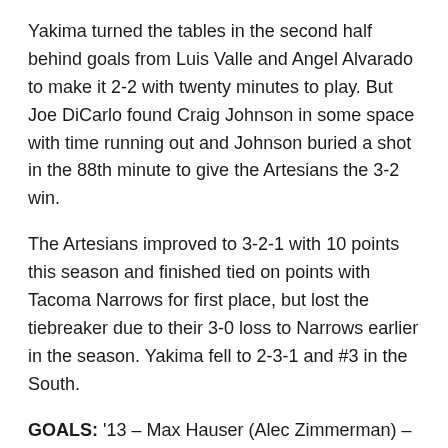Yakima turned the tables in the second half behind goals from Luis Valle and Angel Alvarado to make it 2-2 with twenty minutes to play. But Joe DiCarlo found Craig Johnson in some space with time running out and Johnson buried a shot in the 88th minute to give the Artesians the 3-2 win.
The Artesians improved to 3-2-1 with 10 points this season and finished tied on points with Tacoma Narrows for first place, but lost the tiebreaker due to their 3-0 loss to Narrows earlier in the season. Yakima fell to 2-3-1 and #3 in the South.
GOALS: '13 – Max Hauser (Alec Zimmerman) – Oly Town, '42 – Jason Fairhurst (Hauser) – Oly Town, '60 – Luis Valle (Jose Marquez) – Yakima, '70 – Angel Alvarado – Yakima, '88 – Craig Johnson (Joe DiCarlo) – Oly Town